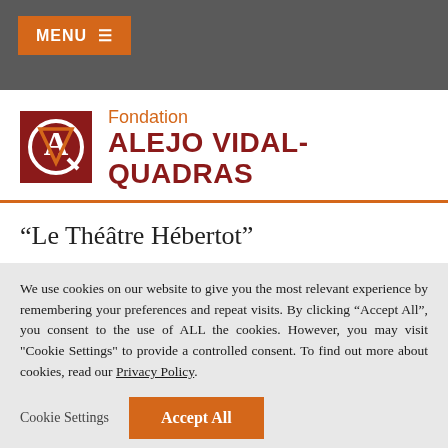MENU ≡
[Figure (logo): Fondation Alejo Vidal-Quadras logo with red square containing AV letters and orange/red text]
“Le Théâtre Hébertot”
We use cookies on our website to give you the most relevant experience by remembering your preferences and repeat visits. By clicking “Accept All”, you consent to the use of ALL the cookies. However, you may visit "Cookie Settings" to provide a controlled consent. To find out more about cookies, read our Privacy Policy.
Cookie Settings | Accept All